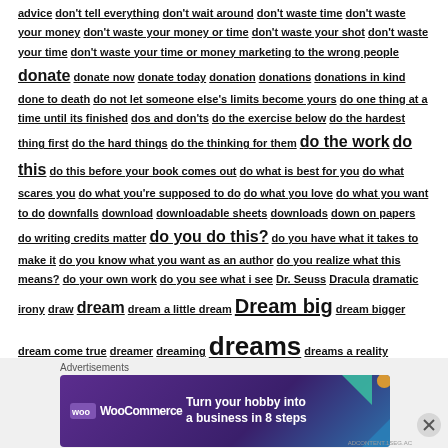advice don't tell everything don't wait around don't waste time don't waste your money don't waste your money or time don't waste your shot don't waste your time don't waste your time or money marketing to the wrong people donate donate now donate today donation donations donations in kind done to death do not let someone else's limits become yours do one thing at a time until its finished dos and don'ts do the exercise below do the hardest thing first do the hard things do the thinking for them do the work do this do this before your book comes out do what is best for you do what scares you do what you're supposed to do do what you love do what you want to do downfalls download downloadable sheets downloads down on papers do writing credits matter do you do this? do you have what it takes to make it do you know what you want as an author do you realize what this means? do your own work do you see what i see Dr. Seuss Dracula dramatic irony draw dream dream a little dream Dream big dream bigger dream come true dreamer dreaming dreams dreams a reality dreams can happen dream state dream without a plan dream work dress sense dress to impress drive dumb and glorious dumbledore dumb villain dump it dump the excuses Duncan dutys dad dutys daughter dutys son dvd dying
Advertisements
[Figure (other): WooCommerce advertisement banner: purple/blue gradient background with WooCommerce logo on left and text 'Turn your hobby into a business in 8 steps' on right, with colorful geometric corner decorations]